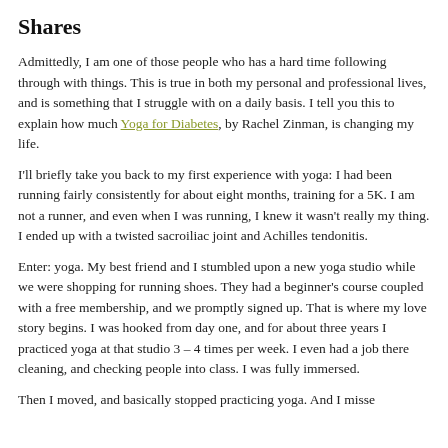Shares
Admittedly, I am one of those people who has a hard time following through with things. This is true in both my personal and professional lives, and is something that I struggle with on a daily basis. I tell you this to explain how much Yoga for Diabetes, by Rachel Zinman, is changing my life.
I'll briefly take you back to my first experience with yoga: I had been running fairly consistently for about eight months, training for a 5K. I am not a runner, and even when I was running, I knew it wasn't really my thing. I ended up with a twisted sacroiliac joint and Achilles tendonitis.
Enter: yoga. My best friend and I stumbled upon a new yoga studio while we were shopping for running shoes. They had a beginner's course coupled with a free membership, and we promptly signed up. That is where my love story begins. I was hooked from day one, and for about three years I practiced yoga at that studio 3 – 4 times per week. I even had a job there cleaning, and checking people into class. I was fully immersed.
Then I moved, and basically stopped practicing yoga. And I misse